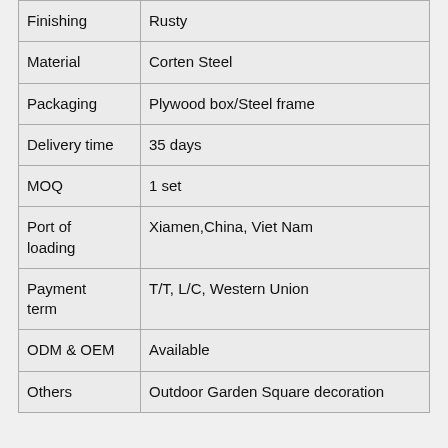| Finishing | Rusty |
| Material | Corten Steel |
| Packaging | Plywood box/Steel frame |
| Delivery time | 35 days |
| MOQ | 1 set |
| Port of loading | Xiamen,China, Viet Nam |
| Payment term | T/T, L/C, Western Union |
| ODM & OEM | Available |
| Others | Outdoor Garden Square decoration |